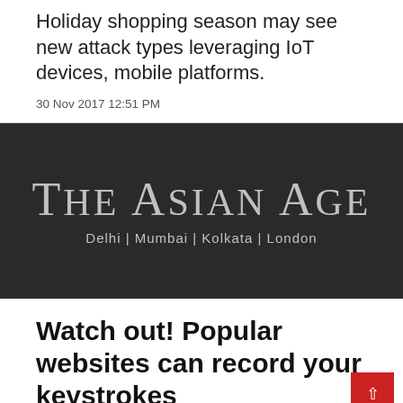Holiday shopping season may see new attack types leveraging IoT devices, mobile platforms.
30 Nov 2017 12:51 PM
[Figure (logo): The Asian Age newspaper logo with tagline 'Delhi | Mumbai | Kolkata | London' on dark background]
Watch out! Popular websites can record your keystrokes